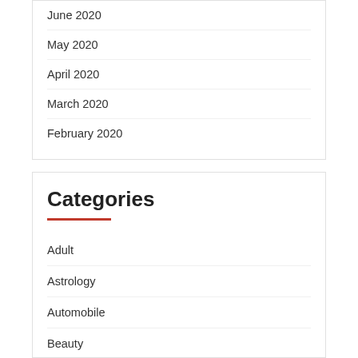June 2020
May 2020
April 2020
March 2020
February 2020
Categories
Adult
Astrology
Automobile
Beauty